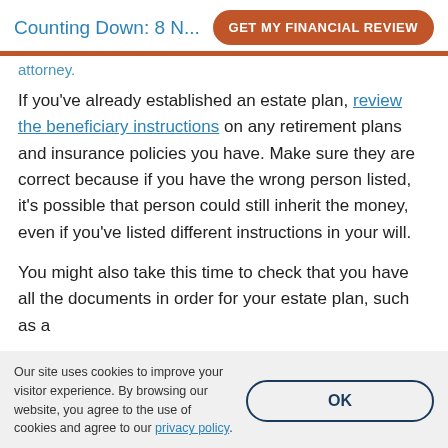Counting Down: 8 N...  GET MY FINANCIAL REVIEW
attorney.
If you've already established an estate plan, review the beneficiary instructions on any retirement plans and insurance policies you have. Make sure they are correct because if you have the wrong person listed, it's possible that person could still inherit the money, even if you've listed different instructions in your will.
You might also take this time to check that you have all the documents in order for your estate plan, such as a
Our site uses cookies to improve your visitor experience. By browsing our website, you agree to the use of cookies and agree to our privacy policy.